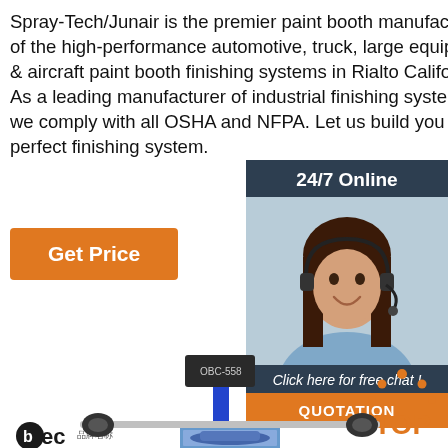Spray-Tech/Junair is the premier paint booth manufacturer of the high-performance automotive, truck, large equipment & aircraft paint booth finishing systems in Rialto California. As a leading manufacturer of industrial finishing systems, we comply with all OSHA and NFPA. Let us build you the perfect finishing system.
Get Price
[Figure (photo): 24/7 Online chat widget with woman wearing headset, and QUOTATION button]
[Figure (logo): BEC brand logo with CE certification marks]
[Figure (photo): OBC-558 scanner device mounted on a rail above a car image]
[Figure (other): TOP back-to-top button with orange dots icon]